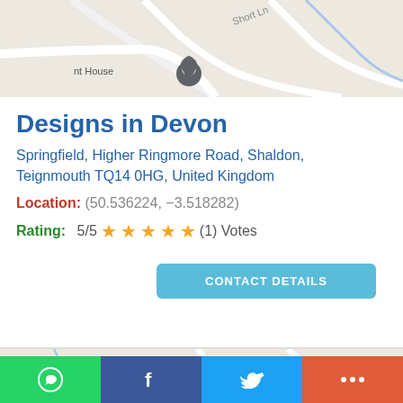[Figure (map): Google Maps view showing road layout with location pin near 'nt House', road 'Short Ln' visible]
Designs in Devon
Springfield, Higher Ringmore Road, Shaldon, Teignmouth TQ14 0HG, United Kingdom
Location: (50.536224, −3.518282)
Rating: 5/5 ★★★★★ (1) Votes
CONTACT DETAILS
[Figure (map): Google Maps view showing Osmond Cottage, The old rectory, Beer's lane, Linacre Ln, Ridgeway, with pink location pin and yellow/orange icons]
WhatsApp share, Facebook share, Twitter share, More share buttons